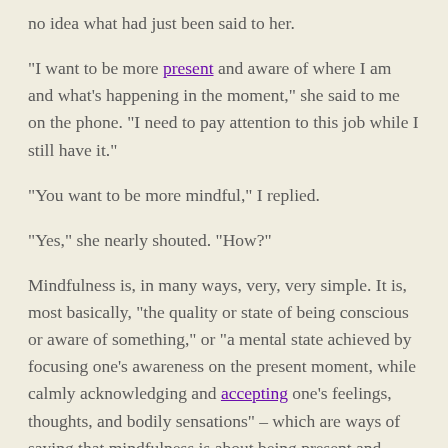no idea what had just been said to her.
"I want to be more present and aware of where I am and what's happening in the moment," she said to me on the phone. "I need to pay attention to this job while I still have it."
"You want to be more mindful," I replied.
"Yes," she nearly shouted. "How?"
Mindfulness is, in many ways, very, very simple. It is, most basically, “the quality or state of being conscious or aware of something,” or “a mental state achieved by focusing one’s awareness on the present moment, while calmly acknowledging and accepting one’s feelings, thoughts, and bodily sensations” – which are ways of saying that mindfulness is about being present and aware of the moment. Each moment.